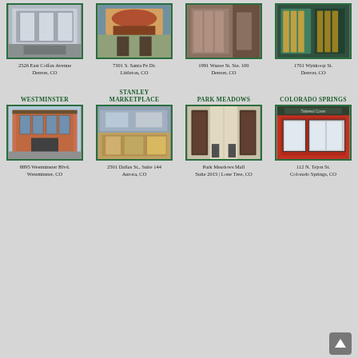[Figure (photo): Bookstore exterior, 2526 East Colfax Avenue, Denver CO]
[Figure (photo): Bookstore exterior with colorful mural, 7301 S. Santa Fe Dr., Littleton CO]
[Figure (photo): Bookstore interior, 1991 Wazee St. Ste. 100, Denver CO]
[Figure (photo): Bookstore interior shelves, 1701 Wynkoop St., Denver CO]
2526 East Colfax Avenue
Denver, CO
7301 S. Santa Fe Dr.
Littleton, CO
1991 Wazee St. Ste. 100
Denver, CO
1701 Wynkoop St.
Denver, CO
WESTMINSTER
STANLEY MARKETPLACE
PARK MEADOWS
COLORADO SPRINGS
[Figure (photo): Westminster bookstore exterior brick building]
[Figure (photo): Stanley Marketplace bookstore interior]
[Figure (photo): Park Meadows bookstore interior]
[Figure (photo): Colorado Springs bookstore exterior red facade]
8895 Westminster Blvd.
Westminster, CO
2501 Dallas St., Suite 144
Aurora, CO
Park Meadows Mall
Suite 2015 | Lone Tree, CO
112 N. Tejon St.
Colorado Springs, CO